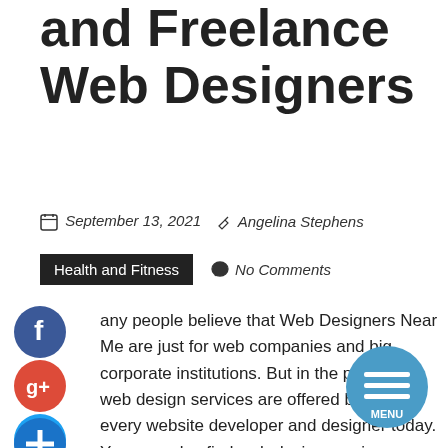and Freelance Web Designers
September 13, 2021  Angelina Stephens
Health and Fitness  No Comments
Many people believe that Web Designers Near Me are just for web companies and big corporate institutions. But in the present, web design services are offered by most every website developer and designer today. You may also find web design services offered by freelance web designers, which are also very popular today. Web design services encompass many areas, such as logo design, web content writing, web site creation, web page layout, online advertising, web